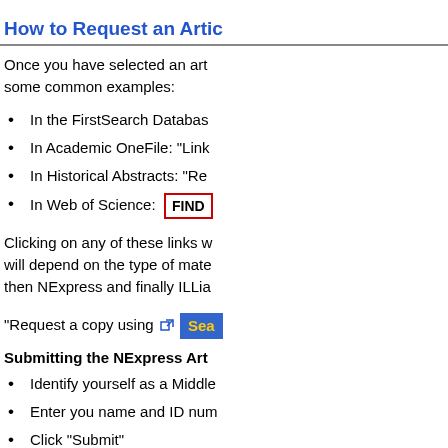How to Request an Artic
Once you have selected an art some common examples:
In the FirstSearch Databas
In Academic OneFile: "Link
In Historical Abstracts: "Re
In Web of Science: [FIND button]
Clicking on any of these links w will depend on the type of mate then NExpress and finally ILLia
"Request a copy using [icon] [Search button]
Submitting the NExpress Art
Identify yourself as a Middle
Enter you name and ID num
Click "Submit"
Review the article informati comments as needed